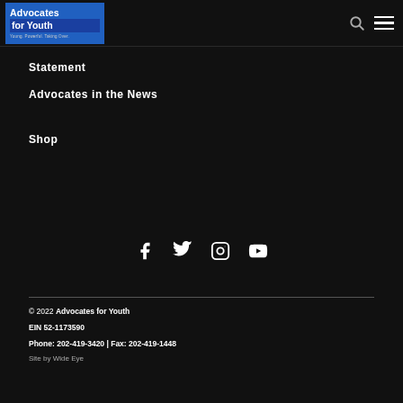Advocates for Youth — Young. Powerful. Taking Over.
Statement
Advocates in the News
Shop
[Figure (other): Social media icons: Facebook, Twitter, Instagram, YouTube]
© 2022 Advocates for Youth
EIN 52-1173590
Phone: 202-419-3420 | Fax: 202-419-1448
Site by Wide Eye